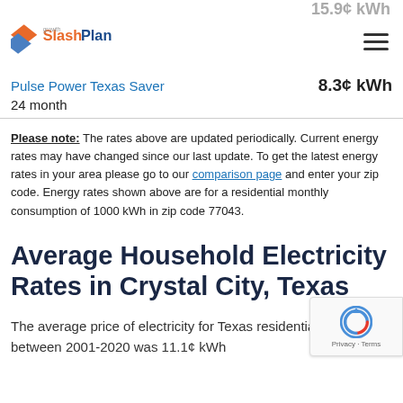SlashPlan logo and navigation
Pulse Power Texas Saver    8.3¢ kWh
24 month
Please note: The rates above are updated periodically. Current energy rates may have changed since our last update. To get the latest energy rates in your area please go to our comparison page and enter your zip code. Energy rates shown above are for a residential monthly consumption of 1000 kWh in zip code 77043.
Average Household Electricity Rates in Crystal City, Texas
The average price of electricity for Texas residential consumers between 2001-2020 was 11.1¢ kWh